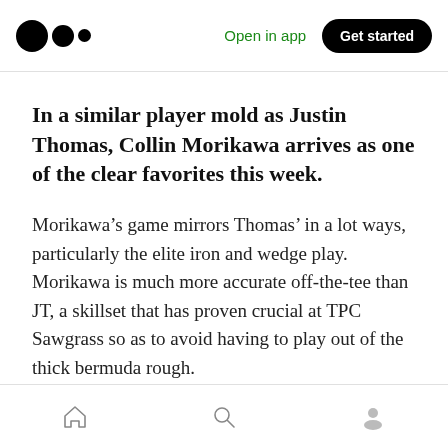Open in app | Get started
In a similar player mold as Justin Thomas, Collin Morikawa arrives as one of the clear favorites this week.
Morikawa’s game mirrors Thomas’ in a lot ways, particularly the elite iron and wedge play. Morikawa is much more accurate off-the-tee than JT, a skillset that has proven crucial at TPC Sawgrass so as to avoid having to play out of the thick bermuda rough.
Home | Search | Profile